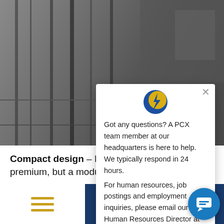[Figure (photo): Grayscale photo of a person crouching next to server racks in a data center]
Got any questions? A PCX team member at our headquarters is here to help. We typically respond in 24 hours.
For human resources, job postings and employment inquiries, please email our Human Resources Director at brendan.attoh@pxcorp.com
Compact design – Real estate prices are at a premium, but a modular data center requir...
[Figure (infographic): Bottom navigation bar with hamburger menu icon and Download button, plus chat bubble button]